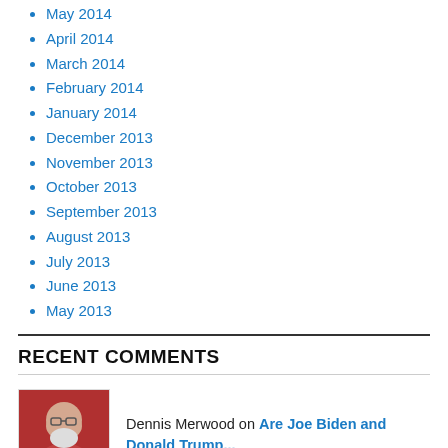May 2014
April 2014
March 2014
February 2014
January 2014
December 2013
November 2013
October 2013
September 2013
August 2013
July 2013
June 2013
May 2013
RECENT COMMENTS
Dennis Merwood on Are Joe Biden and Donald Trump...
jg moebus on Are Joe Biden and Donald Trump...